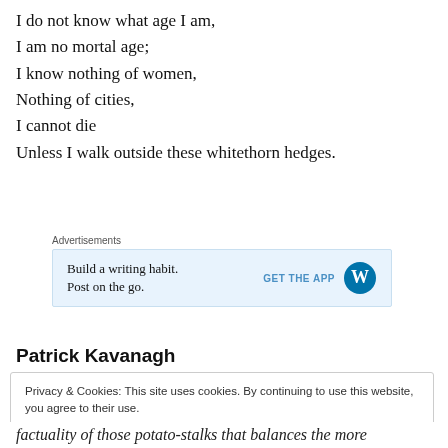I do not know what age I am,
I am no mortal age;
I know nothing of women,
Nothing of cities,
I cannot die
Unless I walk outside these whitethorn hedges.
[Figure (other): WordPress advertisement banner: 'Build a writing habit. Post on the go. GET THE APP' with WordPress logo]
Patrick Kavanagh
Privacy & Cookies: This site uses cookies. By continuing to use this website, you agree to their use. To find out more, including how to control cookies, see here: Cookie Policy Close and accept
factuality of those potato-stalks that balances the more